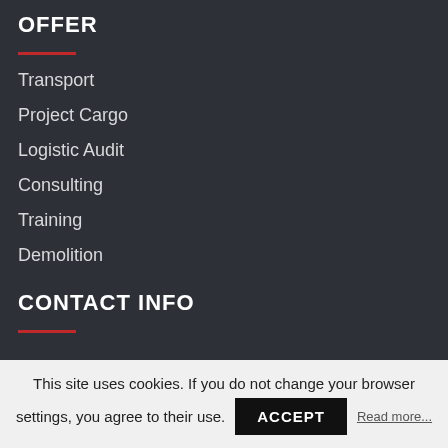OFFER
Transport
Project Cargo
Logistic Audit
Consulting
Training
Demolition
CONTACT INFO
This site uses cookies. If you do not change your browser settings, you agree to their use. ACCEPT Read more...